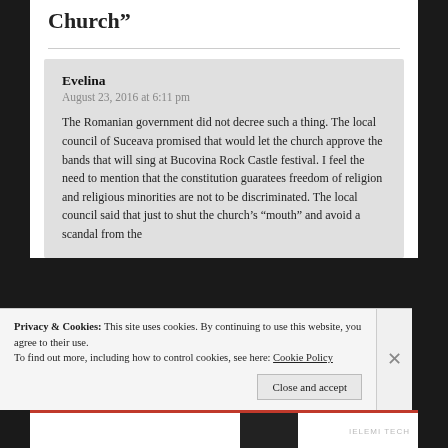Church”
Evelina
August 23, 2016 at 6:11 pm
The Romanian government did not decree such a thing. The local council of Suceava promised that would let the church approve the bands that will sing at Bucovina Rock Castle festival. I feel the need to mention that the constitution guaratees freedom of religion and religious minorities are not to be discriminated. The local council said that just to shut the church’s “mouth” and avoid a scandal from the
Privacy & Cookies: This site uses cookies. By continuing to use this website, you agree to their use.
To find out more, including how to control cookies, see here: Cookie Policy
Close and accept